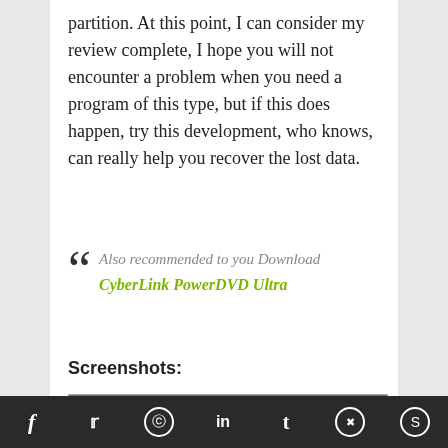partition. At this point, I can consider my review complete, I hope you will not encounter a problem when you need a program of this type, but if this does happen, try this development, who knows, can really help you recover the lost data.
Also recommended to you Download CyberLink PowerDVD Ultra
Screenshots:
[Figure (screenshot): Screenshot of iCare Format Recovery application showing partition selection interface with columns for Partition, Capacity, and Information. Shows C: (NTFS) with 372.12 GB and Crucial_CT1024M5696001.]
f  twitter  pinterest  in  t  reddit  skype